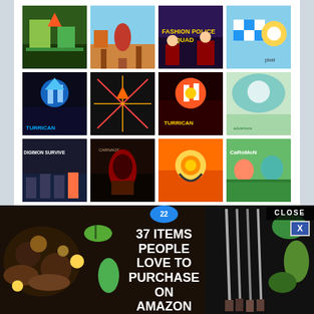[Figure (photo): 3x4 grid of video game cover art thumbnails including Turrican, Fashion Police Squad, and other games]
HARDWARE REVIEWS
[Figure (photo): Grid of hardware review product images including headset, keyboard, controller, and other peripherals]
[Figure (photo): Advertisement banner: 37 ITEMS PEOPLE LOVE TO PURCHASE ON AMAZON with food/kitchen imagery and 22 badge]